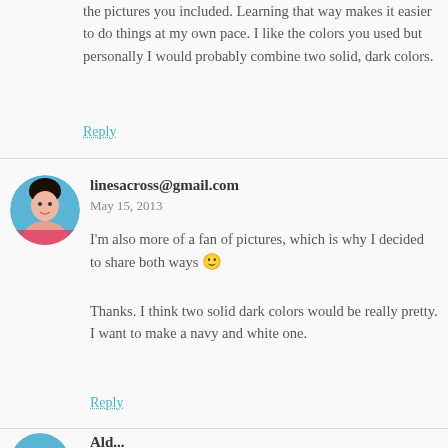the pictures you included. Learning that way makes it easier to do things at my own pace. I like the colors you used but personally I would probably combine two solid, dark colors.
Reply
linesacross@gmail.com
May 15, 2013
I'm also more of a fan of pictures, which is why I decided to share both ways 🙂
Thanks. I think two solid dark colors would be really pretty. I want to make a navy and white one.
Reply
Ald...